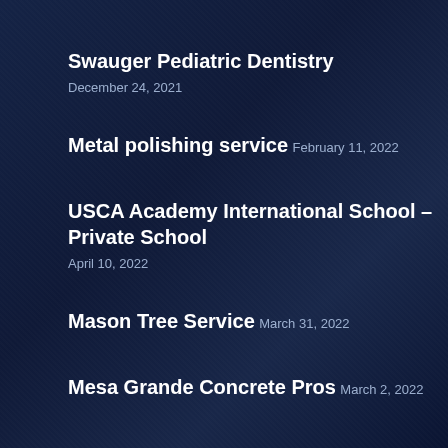Swauger Pediatric Dentistry
December 24, 2021
Metal polishing service
February 11, 2022
USCA Academy International School – Private School
April 10, 2022
Mason Tree Service
March 31, 2022
Mesa Grande Concrete Pros
March 2, 2022